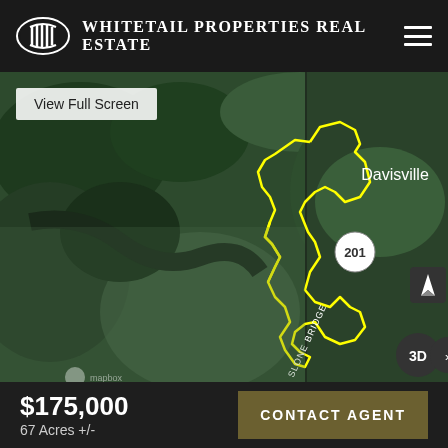Whitetail Properties Real Estate
[Figure (map): Aerial satellite map showing a property outlined in yellow. The property is located near Davisville. A road labeled 'SLONE BRIDGE' runs through the lower portion. Route 201 is visible near Davisville. A '3D' button and compass rose appear on the right side. A 'View Full Screen' button is in the upper left.]
$175,000
67 Acres +/-
CONTACT AGENT